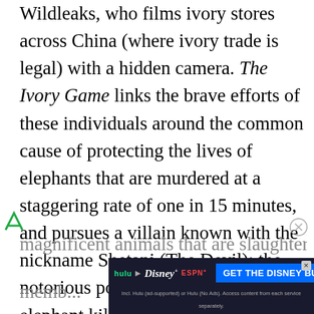Wildleaks, who films ivory stores across China (where ivory trade is legal) with a hidden camera. The Ivory Game links the brave efforts of these individuals around the common cause of protecting the lives of elephants that are murdered at a staggering rate of one in 15 minutes, and pursues a villain known with the nickname Shetani (The Devil); the notorious poacher with over 10,000 elephant kills under his name. It is simply thrilling, heartbreaking stuff; especially when the filmmakers necessarily confront the viewers with rotting corpses of magnificent animals that are slaughtered members...
[Figure (other): Advertisement banner for Disney Bundle (Hulu, Disney+, ESPN+) with dark background and blue CTA button saying GET THE DISNEY BUNDLE]